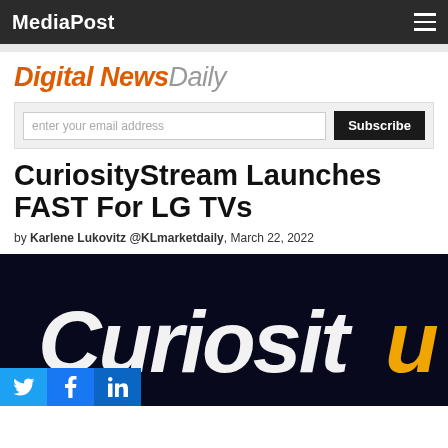MediaPost
Digital News Daily
enter your email address [Subscribe]
CuriosityStream Launches FAST For LG TVs
by Karlene Lukovitz @KLmarketdaily, March 22, 2022
[Figure (photo): CuriosityStream logo on dark background showing the word 'Curiosity' in large bold white and orange letters]
[Figure (infographic): Social media sharing icons: Twitter (bird), Facebook (f), LinkedIn (in) in blue squares]